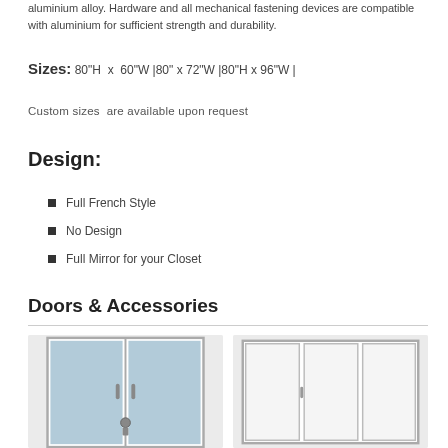aluminium alloy. Hardware and all mechanical fastening devices are compatible with aluminium for sufficient strength and durability.
Sizes: 80"H  x  60"W |80" x 72"W |80"H x 96"W |
Custom sizes  are available upon request
Design:
Full French Style
No Design
Full Mirror for your Closet
Doors & Accessories
[Figure (photo): French style door with glass panels and handle hardware]
[Figure (photo): Sliding door system with multiple panels]